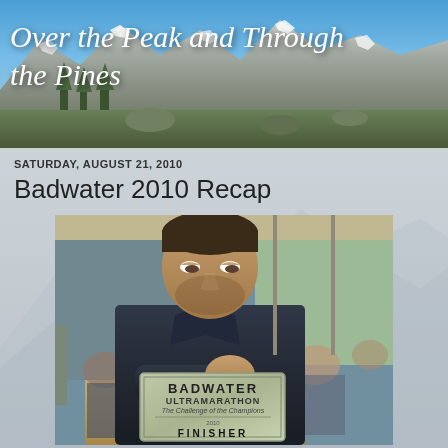Over the Peak and Through the Pines
SATURDAY, AUGUST 21, 2010
Badwater 2010 Recap
[Figure (photo): Exhausted man resting his head on a table holding a Badwater Ultramarathon finisher buckle/plaque at a diner or restaurant. The plaque reads 'BADWATER ULTRAMARATHON The Challenge of the Champions ... FINISHER'. Background shows other people seated at tables.]